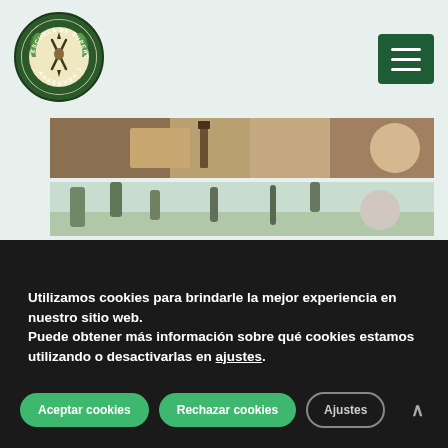[Figure (logo): Circular logo of Escuela de Supervivencia Anaconda 1, dark green border with wreath and crossed tools/weapons]
[Figure (other): Hamburger menu button, dark green square with three white horizontal lines]
[Figure (photo): Outdoor photo strip showing a knife and rocky terrain in warm tones]
[Figure (photo): Outdoor photo strip showing trees and sky in cool green tones]
Utilizamos cookies para brindarle la mejor experiencia en nuestro sitio web.
Puede obtener más información sobre qué cookies estamos utilizando o desactivarlas en ajustes.
Aceptar cookies
Rechazar cookies
Ajustes